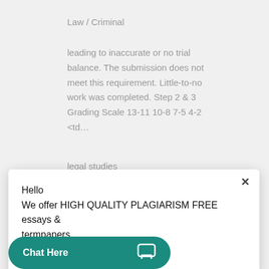Law / Criminal
leading to inaccurate or no trial balance. The submission does not meet this requirement. Little-to-no work was completed. Step 2 & 3 Grading Scale 13-11 10-8 7-5 4-2 <td…
legal studies
Hello
We offer HIGH QUALITY PLAGIARISM FREE essays & termpapers.

Chat…
Chat Here